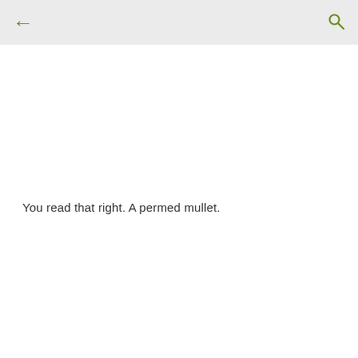← [back] [search]
You read that right. A permed mullet.